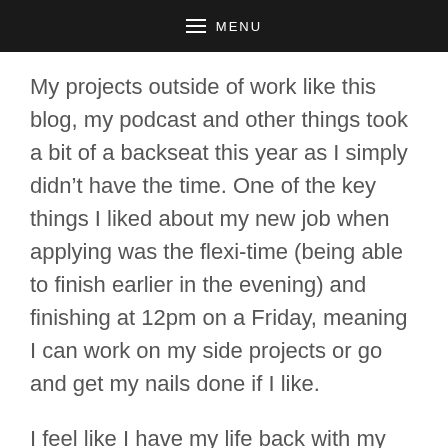MENU
My projects outside of work like this blog, my podcast and other things took a bit of a backseat this year as I simply didn’t have the time. One of the key things I liked about my new job when applying was the flexi-time (being able to finish earlier in the evening) and finishing at 12pm on a Friday, meaning I can work on my side projects or go and get my nails done if I like.
I feel like I have my life back with my new job. I don’t have to worry so much about getting stress lines and I have a full night’s sleep without waking up and thinking about what I